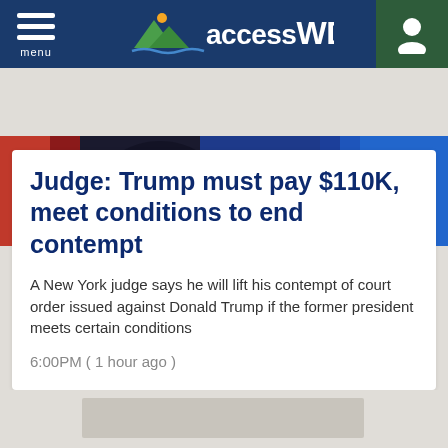accessWDUN — menu / account
[Figure (photo): News header photo showing flags and political rally scene with 'AM' text visible on a banner]
Judge: Trump must pay $110K, meet conditions to end contempt
A New York judge says he will lift his contempt of court order issued against Donald Trump if the former president meets certain conditions
6:00PM ( 1 hour ago )